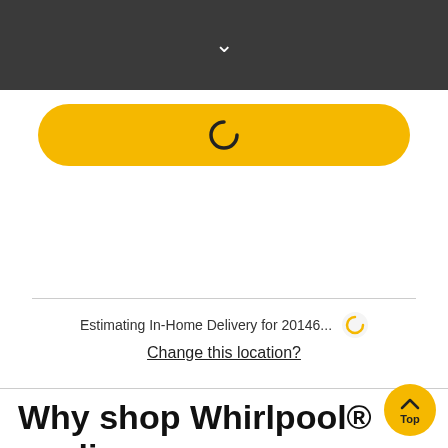[Figure (screenshot): Dark gray navigation header bar with a white downward chevron icon centered]
[Figure (screenshot): Yellow rounded button with a loading spinner icon (Ω-like arc) centered on it]
Estimating In-Home Delivery for 20146...
Change this location?
Why shop Whirlpool® appliances